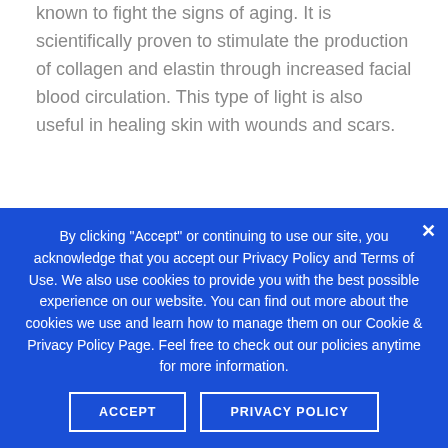...red lights. The red LED lights are generally known to fight the signs of aging. It is scientifically proven to stimulate the production of collagen and elastin through increased facial blood circulation. This type of light is also useful in healing skin with wounds and scars.
Blue lights: These lights are geared towards acne treatment. For instance, the blue light therapy mask is clinically proven to stop acne-causing bacteria up to 80% by stimulating...
By clicking "Accept" or continuing to use our site, you acknowledge that you accept our Privacy Policy and Terms of Use. We also use cookies to provide you with the best possible experience on our website. You can find out more about the cookies we use and learn how to manage them on our Cookie & Privacy Policy Page. Feel free to check out our policies anytime for more information.